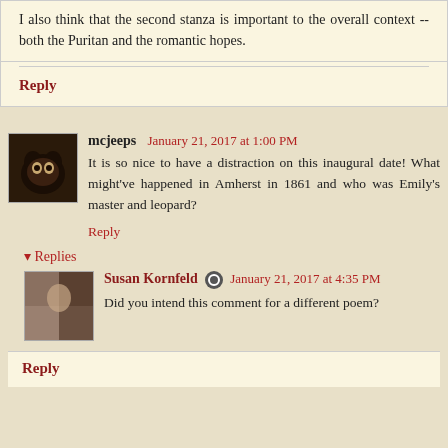I also think that the second stanza is important to the overall context -- both the Puritan and the romantic hopes.
Reply
mcjeeps  January 21, 2017 at 1:00 PM
It is so nice to have a distraction on this inaugural date! What might've happened in Amherst in 1861 and who was Emily's master and leopard?
Reply
▾ Replies
Susan Kornfeld  January 21, 2017 at 4:35 PM
Did you intend this comment for a different poem?
Reply